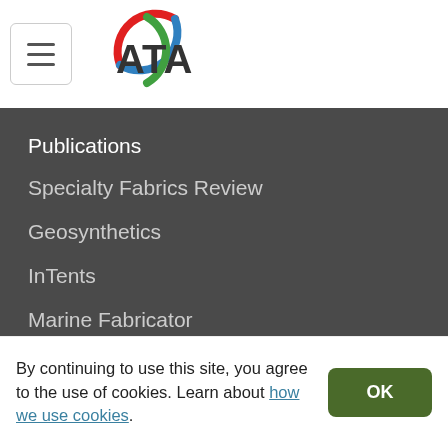ATA (logo with hamburger menu)
Publications
Specialty Fabrics Review
Geosynthetics
InTents
Marine Fabricator
Advanced Textiles Source
Fabric Architecture
Company
About ATA
Events
By continuing to use this site, you agree to the use of cookies. Learn about how we use cookies.